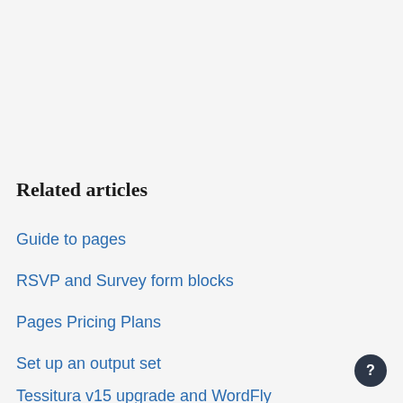Related articles
Guide to pages
RSVP and Survey form blocks
Pages Pricing Plans
Set up an output set
Tessitura v15 upgrade and WordFly